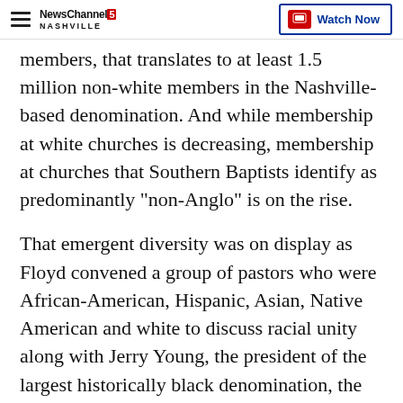NewsChannel 5 Nashville — Watch Now
members, that translates to at least 1.5 million non-white members in the Nashville-based denomination. And while membership at white churches is decreasing, membership at churches that Southern Baptists identify as predominantly "non-Anglo" is on the rise.
That emergent diversity was on display as Floyd convened a group of pastors who were African-American, Hispanic, Asian, Native American and white to discuss racial unity along with Jerry Young, the president of the largest historically black denomination, the National Baptist Convention U.S.A.
Southern Baptists also passed a resolution condemning